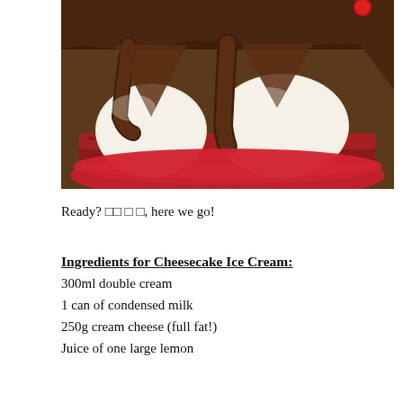[Figure (photo): A cheesecake ice cream dessert on a red plate with chocolate sauce drizzled over white ice cream scoops on a red velvet cake base, viewed from close up.]
Ready? □□ □ □, here we go!
Ingredients for Cheesecake Ice Cream:
300ml double cream
1 can of condensed milk
250g cream cheese (full fat!)
Juice of one large lemon